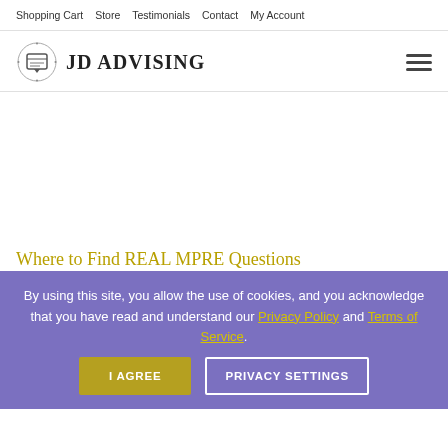Shopping Cart  Store  Testimonials  Contact  My Account
[Figure (logo): JD Advising logo with diploma icon and text 'JD ADVISING']
Where to Find REAL MPRE Questions
By using this site, you allow the use of cookies, and you acknowledge that you have read and understand our Privacy Policy and Terms of Service.
I AGREE  PRIVACY SETTINGS